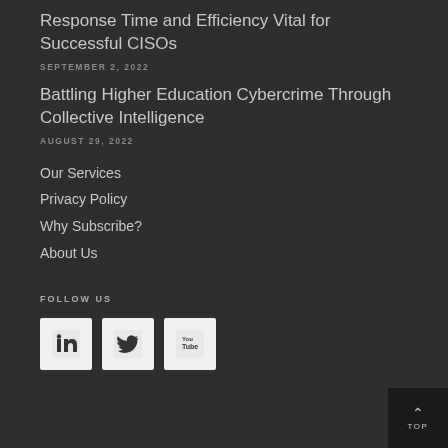Response Time and Efficiency Vital for Successful CISOs
SEPTEMBER 2, 2022
Battling Higher Education Cybercrime Through Collective Intelligence
AUGUST 29, 2022
Our Services
Privacy Policy
Why Subscribe?
About Us
FOLLOW US
[Figure (logo): LinkedIn, Twitter, and YouTube social media icons in light gray squares]